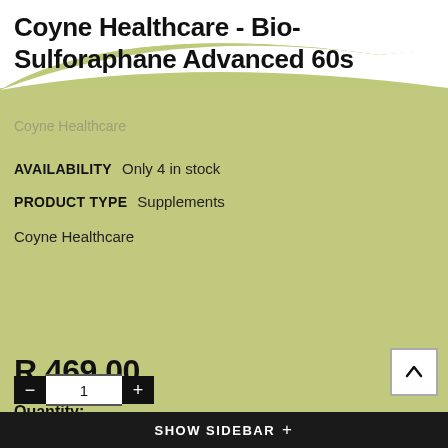Coyne Healthcare - Bio- Sulforaphane Advanced 60s
Coyne Healthcare
AVAILABILITY   Only 4 in stock
PRODUCT TYPE   Supplements
Coyne Healthcare
R 469.00
Quantity:
SHOW SIDEBAR +